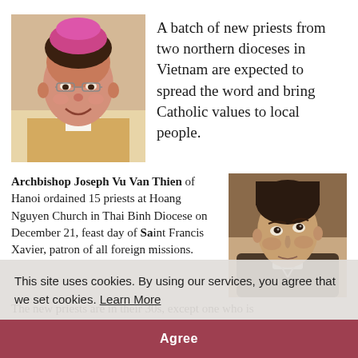[Figure (photo): Photo of Archbishop Joseph Vu Van Thien wearing episcopal vestments and pink zucchetto, smiling]
A batch of new priests from two northern dioceses in Vietnam are expected to spread the word and bring Catholic values to local people.
Archbishop Joseph Vu Van Thien of Hanoi ordained 15 priests at Hoang Nguyen Church in Thai Binh Diocese on December 21, feast day of Saint Francis Xavier, patron of all foreign missions.
[Figure (photo): Painting/illustration of a saint (Francis Xavier) looking upward]
This site uses cookies. By using our services, you agree that we set cookies. Learn More
Agree
The new priests are in their 30s, except one who is